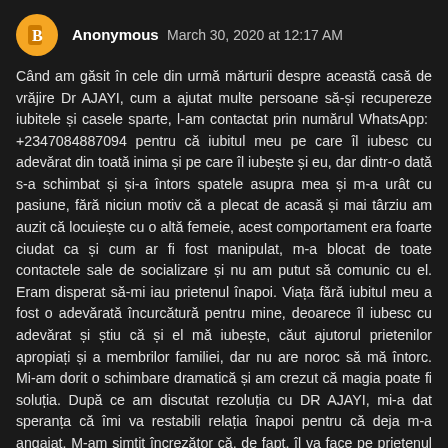Anonymous  March 30, 2020 at 12:17 AM
Când am găsit în cele din urmă mărturii despre această casă de vrăjire Dr AJAYI, cum a ajutat multe persoane să-și recupereze iubitele și casele sparte, l-am contactat prin numărul WhatsApp:  +2347084887094 pentru că iubitul meu pe care îl iubesc cu adevărat din toată inima și pe care îl iubește și eu, dar dintr-o dată s-a schimbat și și-a întors spatele asupra mea și m-a urât cu pasiune, fără niciun motiv că a plecat de acasă și mai târziu am auzit că locuiește cu o altă femeie, acest comportament era foarte ciudat ca și cum ar fi fost manipulat, m-a blocat de toate contactele sale de socializare și nu am putut să comunic cu el. Eram disperat să-mi iau prietenul înapoi. Viața fără iubitul meu a fost o adevărată încurcătură pentru mine, deoarece îl iubesc cu adevărat și știu că și el mă iubește, căut ajutorul prietenilor apropiați și a membrilor familiei, dar nu are noroc să mă întorc. Mi-am dorit o schimbare dramatică și am crezut că magia poate fi soluția. După ce am discutat rezoluția cu DR AJAYI, mi-a dat speranța că îmi va restabili relația înapoi pentru că deja m-a angajat. M-am simțit încrezător că, de fapt, îl va face pe prietenul meu să se întoarcă acasă și făcut el. Este foarte ...